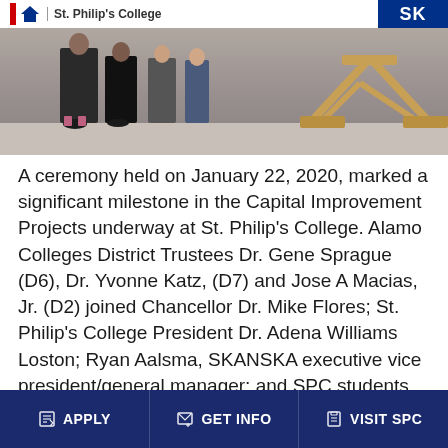[Figure (photo): Photo of a ceremony at St. Philip's College showing people standing near wooden structures, with a banner at the top showing the St. Philip's College logo and 'SK' branding on the right.]
A ceremony held on January 22, 2020, marked a significant milestone in the Capital Improvement Projects underway at St. Philip's College. Alamo Colleges District Trustees Dr. Gene Sprague (D6), Dr. Yvonne Katz, (D7) and Jose A Macias, Jr. (D2) joined Chancellor Dr. Mike Flores; St. Philip's College President Dr. Adena Williams Loston; Ryan Aalsma, SKANSKA executive vice president/general manager; and SPC students and employees in the celebratory "topping out" of the Norris Technical Building (NTB). The ceremony was the second “topping out” event to
APPLY   GET INFO   VISIT SPC